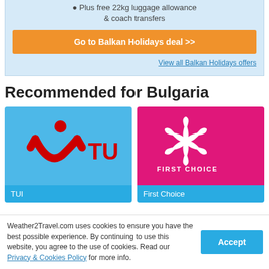Plus free 22kg luggage allowance & coach transfers
Go to Balkan Holidays deal >>
View all Balkan Holidays offers
Recommended for Bulgaria
[Figure (logo): TUI logo on blue background with TUI name label]
[Figure (logo): First Choice logo on pink/magenta background with First Choice name label]
Weather2Travel.com uses cookies to ensure you have the best possible experience. By continuing to use this website, you agree to the use of cookies. Read our Privacy & Cookies Policy for more info.